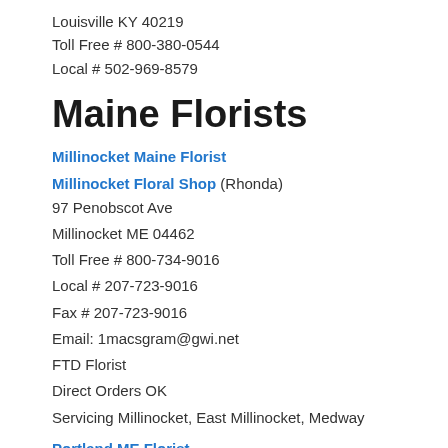Louisville KY 40219
Toll Free # 800-380-0544
Local # 502-969-8579
Maine Florists
Millinocket Maine Florist
Millinocket Floral Shop (Rhonda)
97 Penobscot Ave
Millinocket ME 04462
Toll Free # 800-734-9016
Local # 207-723-9016
Fax # 207-723-9016
Email: 1macsgram@gwi.net
FTD Florist
Direct Orders OK
Servicing Millinocket, East Millinocket, Medway
Portland ME Florist